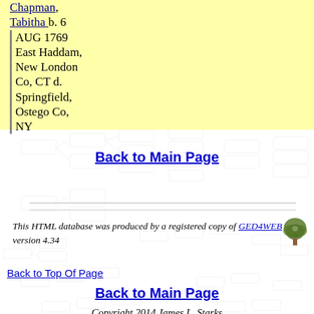Chapman, Tabitha b. 6 AUG 1769 East Haddam, New London Co, CT d. Springfield, Ostego Co, NY
Back to Main Page
This HTML database was produced by a registered copy of GED4WEB version 4.34
Back to Top Of Page
Back to Main Page
Copyright 2014 James L. Starks